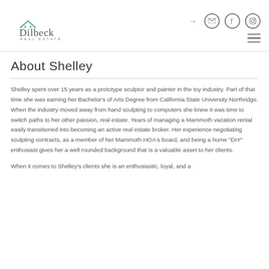Dilbeck Real Estate
About Shelley
Shelley spent over 15 years as a prototype sculptor and painter in the toy industry. Part of that time she was earning her Bachelor's of Arts Degree from California State University Northridge. When the industry moved away from hand sculpting to computers she knew it was time to switch paths to her other passion, real estate. Years of managing a Mammoth vacation rental easily transitioned into becoming an active real estate broker. Her experience negotiating sculpting contracts, as a member of her Mammoth HOA's board, and being a home "DIY" enthusiast gives her a well rounded background that is a valuable asset to her clients.
When it comes to Shelley's clients she is an enthusiastic, loyal, and a